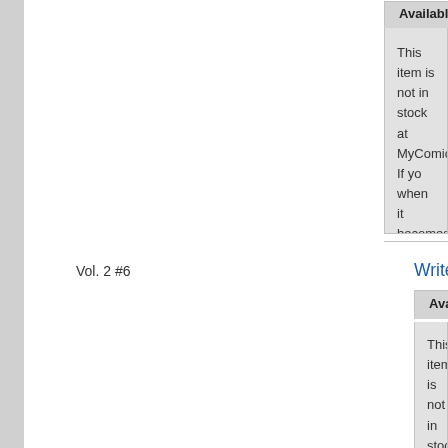This item is not in stock at MyComicShop. If you would like to be notified when it becomes available.
Vol. 2 #6
Writer's Digest (1921-Present F+W Pub...
Available Stock
Add to want list
This item is not in stock at MyComicShop. If you would like to be notified when it becomes available.
Vol. 2 #7
Writer's Digest (1921-Present F+W Pub...
Available Stock
Add to want list
This item is not in stock at MyComicShop. If you would like to be notified when it becomes available.